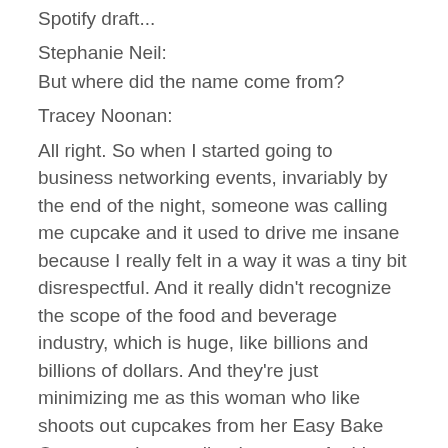Spotify draft...
Stephanie Neil:
But where did the name come from?
Tracey Noonan:
All right. So when I started going to business networking events, invariably by the end of the night, someone was calling me cupcake and it used to drive me insane because I really felt in a way it was a tiny bit disrespectful. And it really didn't recognize the scope of the food and beverage industry, which is huge, like billions and billions of dollars. And they're just minimizing me as this woman who like shoots out cupcakes from her Easy Bake Oven, wearing a polka dot apron. And I really used to